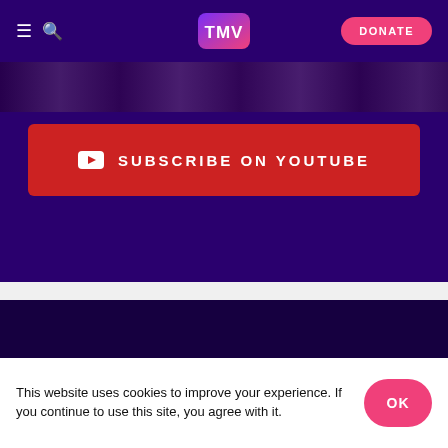TMV navigation bar with hamburger menu, search, TMV logo, and DONATE button
[Figure (screenshot): Dark strip image at top of content area]
SUBSCRIBE ON YOUTUBE
[Figure (logo): TMV logo in footer area - pink-to-purple gradient rounded rectangle with white TMV text]
This website uses cookies to improve your experience. If you continue to use this site, you agree with it.